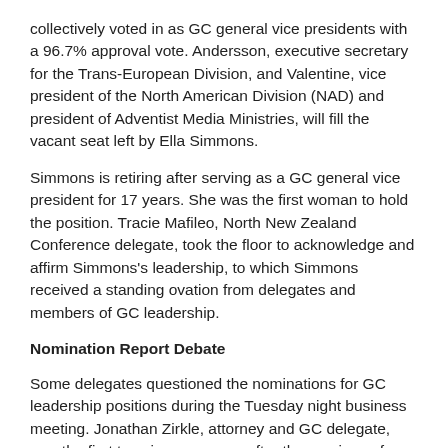collectively voted in as GC general vice presidents with a 96.7% approval vote. Andersson, executive secretary for the Trans-European Division, and Valentine, vice president of the North American Division (NAD) and president of Adventist Media Ministries, will fill the vacant seat left by Ella Simmons.
Simmons is retiring after serving as a GC general vice president for 17 years. She was the first woman to hold the position. Tracie Mafileo, North New Zealand Conference delegate, took the floor to acknowledge and affirm Simmons's leadership, to which Simmons received a standing ovation from delegates and members of GC leadership.
Nomination Report Debate
Some delegates questioned the nominations for GC leadership positions during the Tuesday night business meeting. Jonathan Zirkle, attorney and GC delegate, was the first to voice a concern after the nominees for departmental directors were announced. After being sent to speak with the nominating committee chairperson, Zirkle returned to speak to the floor again and referenced the Public Affairs and Religious Liberty department.